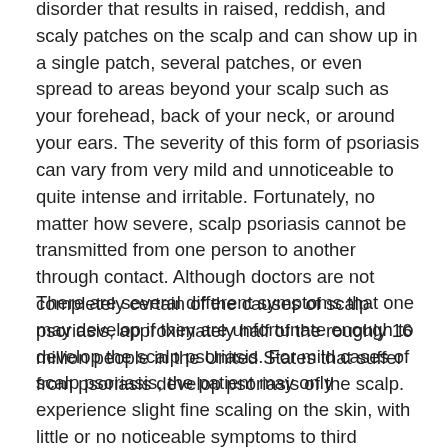disorder that results in raised, reddish, and scaly patches on the scalp and can show up in a single patch, several patches, or even spread to areas beyond your scalp such as your forehead, back of your neck, or around your ears. The severity of this form of psoriasis can vary from very mild and unnoticeable to quite intense and irritable. Fortunately, no matter how severe, scalp psoriasis cannot be transmitted from one person to another through contact. Although doctors are not completely certain of the causes of scalp psoriasis, approximately half of the roughly 16 million people in the United States that suffer from psoriasis develop psoriasis of the scalp.
There are several different symptoms that one may develop if they are unfortunate enough to develop the scalp psoriasis. For mild cases of scalp psoriasis, the patient may only experience slight fine scaling on the skin, with little or no noticeable symptoms to third parties. For those with more moderate or severe cases, more serious symptoms may be present. These